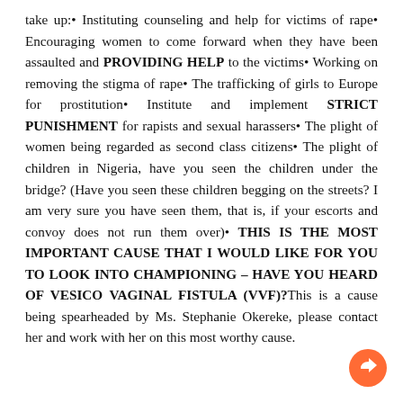take up:• Instituting counseling and help for victims of rape• Encouraging women to come forward when they have been assaulted and PROVIDING HELP to the victims• Working on removing the stigma of rape• The trafficking of girls to Europe for prostitution• Institute and implement STRICT PUNISHMENT for rapists and sexual harassers• The plight of women being regarded as second class citizens• The plight of children in Nigeria, have you seen the children under the bridge? (Have you seen these children begging on the streets? I am very sure you have seen them, that is, if your escorts and convoy does not run them over)• THIS IS THE MOST IMPORTANT CAUSE THAT I WOULD LIKE FOR YOU TO LOOK INTO CHAMPIONING – HAVE YOU HEARD OF VESICO VAGINAL FISTULA (VVF)?This is a cause being spearheaded by Ms. Stephanie Okereke, please contact her and work with her on this most worthy cause.
[Figure (illustration): Orange circular share/reply arrow icon in the bottom-right corner]